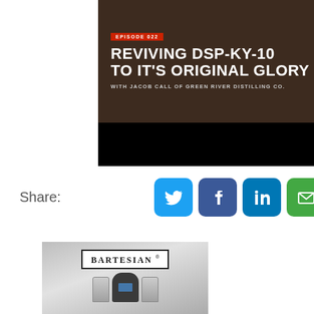[Figure (screenshot): Podcast episode banner with dark brown background. Shows 'EPISODE 022' in red label, title 'REVIVING DSP-KY-10 TO IT'S ORIGINAL GLORY' in large white bold text, subtitle 'WITH JACOB CALL OF GREEN RIVER DISTILLING CO.' Below is a black strip.]
Share:
[Figure (infographic): Row of four social media share buttons: Twitter (blue bird icon), Facebook (blue f icon), LinkedIn (blue in icon), Email (green envelope icon)]
[Figure (photo): Bartesian cocktail machine product photo showing the machine with glass containers on each side, on a gray gradient background with the Bartesian logo in a box at the top.]